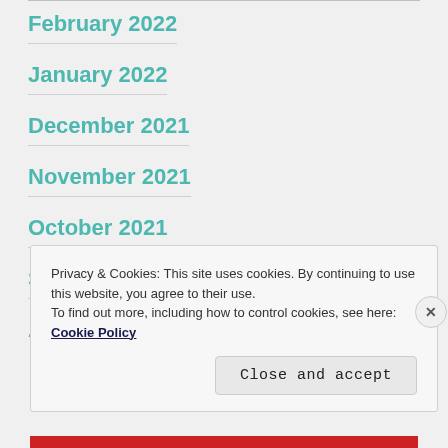February 2022
January 2022
December 2021
November 2021
October 2021
September 2021
A[ugust 2021 — partially visible]
Privacy & Cookies: This site uses cookies. By continuing to use this website, you agree to their use.
To find out more, including how to control cookies, see here: Cookie Policy
Close and accept